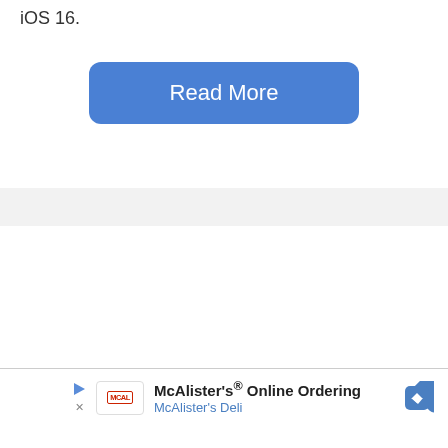iOS 16.
[Figure (screenshot): Blue rounded rectangle button labeled 'Read More']
[Figure (screenshot): Gray horizontal divider bar]
[Figure (screenshot): McAlister's Online Ordering advertisement with logo, play icon, close icon, text and navigation arrow icon]